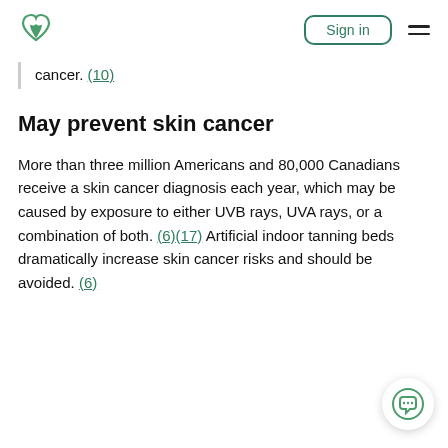Sign in
cancer. (10)
May prevent skin cancer
More than three million Americans and 80,000 Canadians receive a skin cancer diagnosis each year, which may be caused by exposure to either UVB rays, UVA rays, or a combination of both. (6)(17) Artificial indoor tanning beds dramatically increase skin cancer risks and should be avoided. (6)